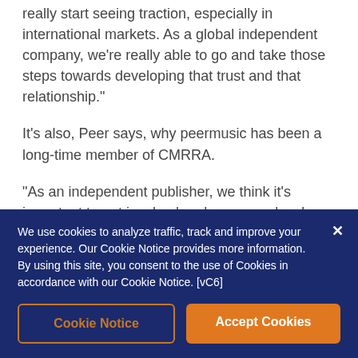really start seeing traction, especially in international markets. As a global independent company, we're really able to go and take those steps towards developing that trust and that relationship."
It's also, Peer says, why peermusic has been a long-time member of CMRRA.
"As an independent publisher, we think it's important to get involved and serve our local rights societies," she explains. "The head of our peermusic Canada office, Neville Quinlan,
We use cookies to analyze traffic, track and improve your experience. Our Cookie Notice provides more information. By using this site, you consent to the use of Cookies in accordance with our Cookie Notice. [vC6]